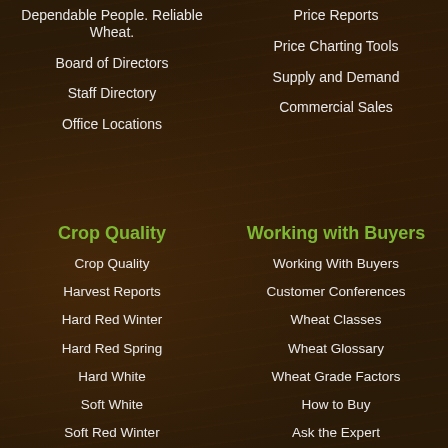Dependable People. Reliable Wheat.
Price Reports
Board of Directors
Price Charting Tools
Staff Directory
Supply and Demand
Office Locations
Commercial Sales
Crop Quality
Working with Buyers
Crop Quality
Working With Buyers
Harvest Reports
Customer Conferences
Hard Red Winter
Wheat Classes
Hard Red Spring
Wheat Glossary
Hard White
Wheat Grade Factors
Soft White
How to Buy
Soft Red Winter
Ask the Expert
Durum
Resources